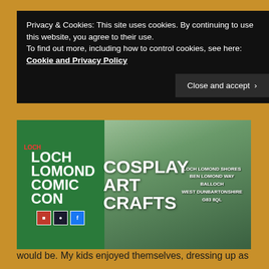Privacy & Cookies: This site uses cookies. By continuing to use this website, you agree to their use.
To find out more, including how to control cookies, see here: Cookie and Privacy Policy
[Figure (photo): Loch Lomond Shores Comic Con banner showing a green sign with 'Loch Lomond Comic Con' text, and white lettering reading 'COSPLAY ART CRAFTS' with address: LOCH LOMOND SHORES, BEN LOMOND WAY, BALLOCH, WEST DUNBARTONSHIRE, G83 8QL]
Hello everyone! How are you? Hope you are well. What have you been up to this week? We went down to Lomond Shores yesterday (Saturday) to attend Comicon. It was actually a lot better than I thought it would be. My kids enjoyed themselves, dressing up as